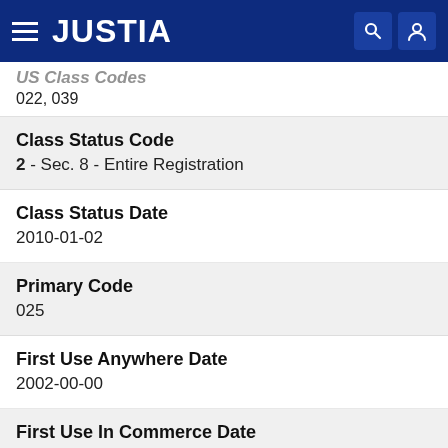JUSTIA
US Class Codes
022, 039
Class Status Code
2 - Sec. 8 - Entire Registration
Class Status Date
2010-01-02
Primary Code
025
First Use Anywhere Date
2002-00-00
First Use In Commerce Date
2002-00-00